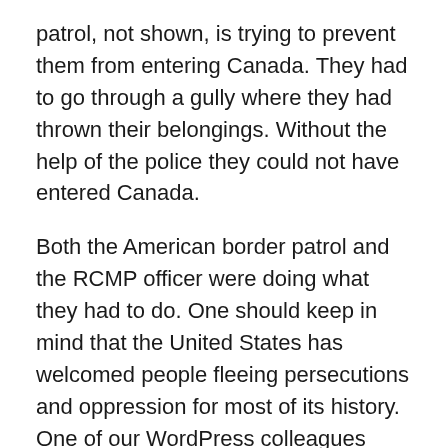patrol, not shown, is trying to prevent them from entering Canada. They had to go through a gully where they had thrown their belongings. Without the help of the police they could not have entered Canada.
Both the American border patrol and the RCMP officer were doing what they had to do. One should keep in mind that the United States has welcomed people fleeing persecutions and oppression for most of its history. One of our WordPress colleagues remarked that the United States had been a lighthouse, a beacon, to the world. It is inhabited by immigrants and descendants of immigrants, many of whom are or have become prominent Americans.
Matters will be remedied, because Mr Trump’s policies are not “American.” They are a violation of the American Constitution. I watched a video showing a man carrying